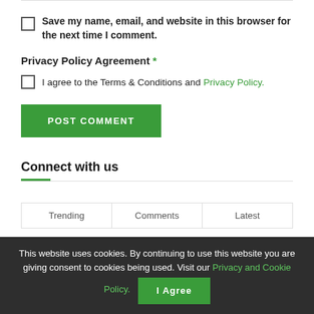Save my name, email, and website in this browser for the next time I comment.
Privacy Policy Agreement *
I agree to the Terms & Conditions and Privacy Policy.
POST COMMENT
Connect with us
Trending   Comments   Latest
This website uses cookies. By continuing to use this website you are giving consent to cookies being used. Visit our Privacy and Cookie Policy.